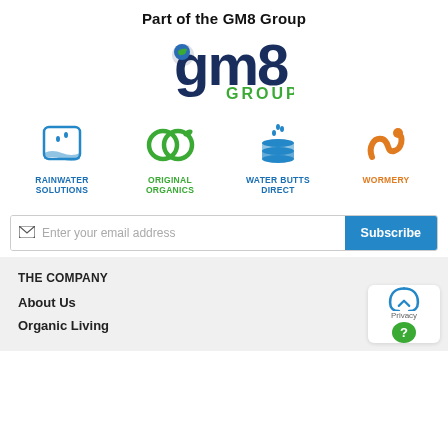Part of the GM8 Group
[Figure (logo): GM8 Group logo with stylized 'gm8' text in dark navy blue and green/teal accent on the globe icon, with 'GROUP' in green below]
[Figure (logo): Four brand logos: Rainwater Solutions (blue bucket icon), Original Organics (green linked circles with leaf), Water Butts Direct (blue stacked barrels with water drops), Wormery (orange swirly worm icon)]
Enter your email address  Subscribe
THE COMPANY
About Us
Organic Living